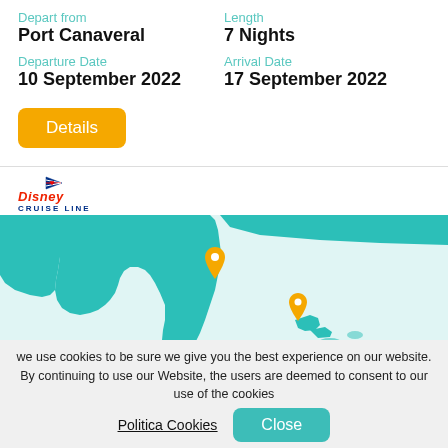Depart from
Port Canaveral
Length
7 Nights
Departure Date
10 September 2022
Arrival Date
17 September 2022
[Figure (illustration): Orange Details button]
[Figure (logo): Disney Cruise Line logo with flag and stylized text]
[Figure (map): Map showing Florida peninsula and surrounding Caribbean sea in teal, with two orange location pins]
we use cookies to be sure we give you the best experience on our website. By continuing to use our Website, the users are deemed to consent to our use of the cookies
Politica Cookies
Close